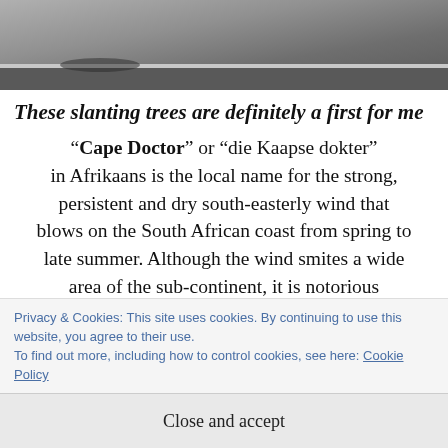[Figure (photo): Top portion of a photo showing a road or path with a curb, asphalt surface visible, grey tones, partial outdoor scene.]
These slanting trees are definitely a first for me
“Cape Doctor” or “die Kaapse dokter” in Afrikaans is the local name for the strong, persistent and dry south-easterly wind that blows on the South African coast from spring to late summer. Although the wind smites a wide area of the sub-continent, it is notorious
Privacy & Cookies: This site uses cookies. By continuing to use this website, you agree to their use.
To find out more, including how to control cookies, see here: Cookie Policy
Close and accept
wind I lost my umbrella and nearly got blown